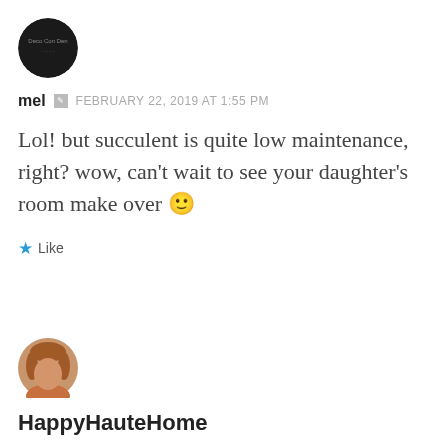[Figure (photo): Round avatar with dark background and small text logo]
mel  FEBRUARY 22, 2019 AT 1:55 PM
Lol! but succulent is quite low maintenance, right? wow, can't wait to see your daughter's room make over 🙂
★ Like
[Figure (photo): Round avatar with woman photo]
HappyHauteHome